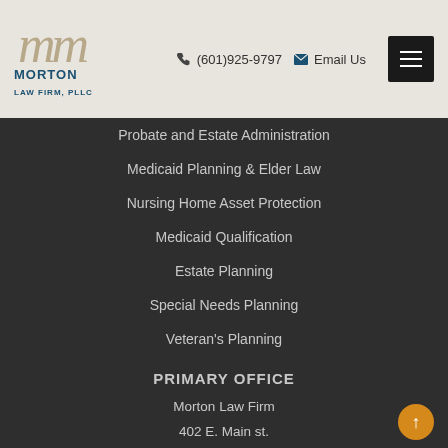Morton Law Firm, PLLC | (601)925-9797 | Email Us
Probate and Estate Administration
Medicaid Planning & Elder Law
Nursing Home Asset Protection
Medicaid Qualification
Estate Planning
Special Needs Planning
Veteran's Planning
PRIMARY OFFICE
Morton Law Firm
402 E. Main st.
Clinton, Mississippi, 39056
Main: 601-925-9797
Toll-free: 866-925-9797
Fax: 601-925-9774